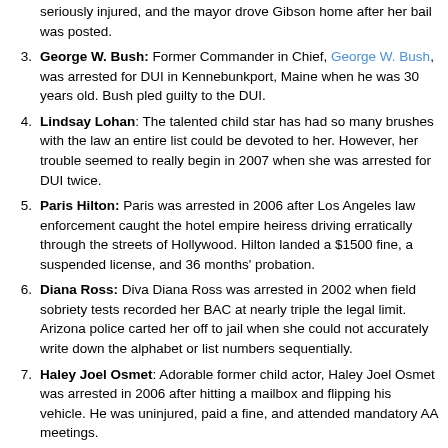seriously injured, and the mayor drove Gibson home after her bail was posted.
George W. Bush: Former Commander in Chief, George W. Bush, was arrested for DUI in Kennebunkport, Maine when he was 30 years old. Bush pled guilty to the DUI.
Lindsay Lohan: The talented child star has had so many brushes with the law an entire list could be devoted to her. However, her trouble seemed to really begin in 2007 when she was arrested for DUI twice.
Paris Hilton: Paris was arrested in 2006 after Los Angeles law enforcement caught the hotel empire heiress driving erratically through the streets of Hollywood. Hilton landed a $1500 fine, a suspended license, and 36 months' probation.
Diana Ross: Diva Diana Ross was arrested in 2002 when field sobriety tests recorded her BAC at nearly triple the legal limit. Arizona police carted her off to jail when she could not accurately write down the alphabet or list numbers sequentially.
Haley Joel Osmet: Adorable former child actor, Haley Joel Osmet was arrested in 2006 after hitting a mailbox and flipping his vehicle. He was uninjured, paid a fine, and attended mandatory AA meetings.
Tim Allen: Favorite TV dad and comedian, Tim Allen, was